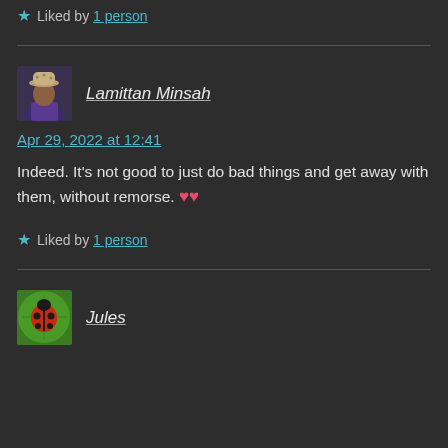Liked by 1 person
Lamittan Minsah
Apr 29, 2022 at 12:41
Indeed. It's not good to just do bad things and get away with them, without remorse. 🧡🧡
Liked by 1 person
Jules